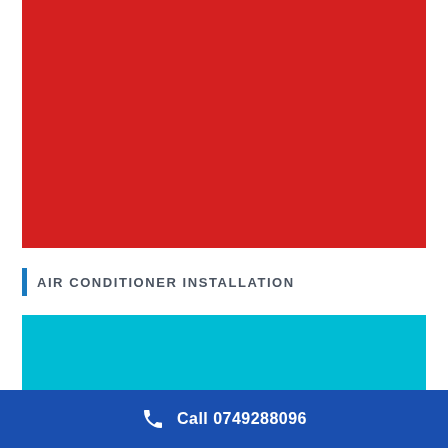[Figure (illustration): Large red rectangle block filling the upper portion of the page]
AIR CONDITIONER INSTALLATION
[Figure (illustration): Cyan/turquoise rectangle block below the section header]
Call 0749288096